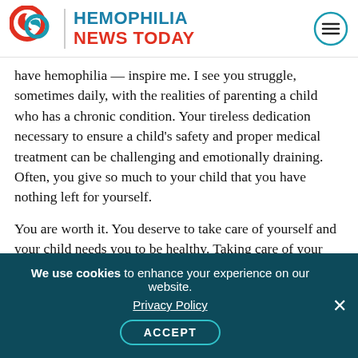[Figure (logo): Hemophilia News Today logo with red swirl graphic, vertical divider, and site name in blue and red]
have hemophilia — inspire me. I see you struggle, sometimes daily, with the realities of parenting a child who has a chronic condition. Your tireless dedication necessary to ensure a child's safety and proper medical treatment can be challenging and emotionally draining. Often, you give so much to your child that you have nothing left for yourself.
You are worth it. You deserve to take care of yourself and your child needs you to be healthy. Taking care of your child means taking care of yourself so you can be the best parent possible.
We use cookies to enhance your experience on our website. Privacy Policy ACCEPT